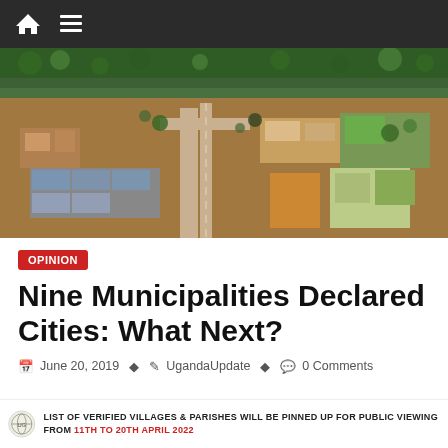[Navigation bar with home and menu icons]
[Figure (photo): Aerial view of a Ugandan municipality/town showing roads, buildings, market areas, and vegetation from above]
OPINION
Nine Municipalities Declared Cities: What Next?
June 20, 2019  UgandaUpdate  0 Comments
LIST OF VERIFIED VILLAGES & PARISHES WILL BE PINNED UP FOR PUBLIC VIEWING FROM 11th to 20th April 2022